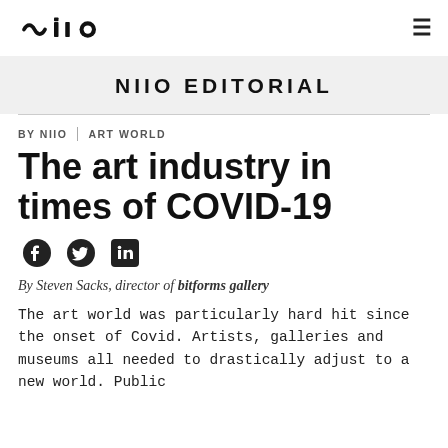NIIO | ≡
NIIO EDITORIAL
BY NIIO | ART WORLD
The art industry in times of COVID-19
[Figure (other): Social media share icons: Facebook, Twitter, LinkedIn]
By Steven Sacks, director of bitforms gallery
The art world was particularly hard hit since the onset of Covid. Artists, galleries and museums all needed to drastically adjust to a new world. Public